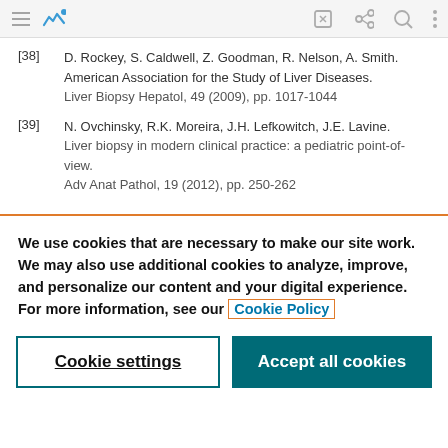toolbar with navigation icons
[38] D. Rockey, S. Caldwell, Z. Goodman, R. Nelson, A. Smith. American Association for the Study of Liver Diseases. Liver Biopsy Hepatol, 49 (2009), pp. 1017-1044
[39] N. Ovchinsky, R.K. Moreira, J.H. Lefkowitch, J.E. Lavine. Liver biopsy in modern clinical practice: a pediatric point-of-view. Adv Anat Pathol, 19 (2012), pp. 250-262
We use cookies that are necessary to make our site work. We may also use additional cookies to analyze, improve, and personalize our content and your digital experience. For more information, see our Cookie Policy
Cookie settings | Accept all cookies